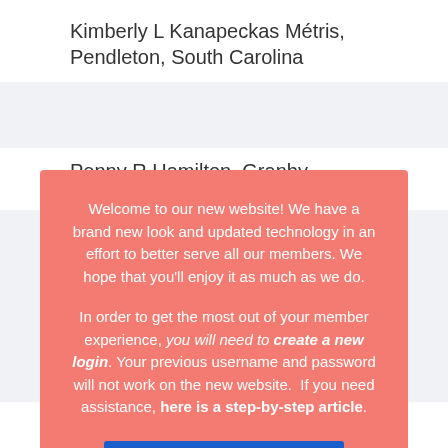Kimberly L Kanapeckas Métris, Pendleton, South Carolina
Penny R Hamilton, Granby, Colorado
Welcome to our new website! We have a brand new look and updated technology in an effort to better serve all our members. We hope that you'll enjoy it as much as we do.

In order to get the most out of your member experience, you will need to create a new login. Your previous username and password will not work on the new website. If you need assistance, here is a step-by-step article.
ACKNOWLEDGE
Prince C Nnaji, Richmond, Texas